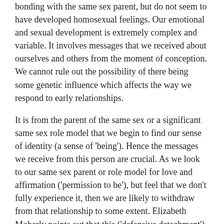bonding with the same sex parent, but do not seem to have developed homosexual feelings. Our emotional and sexual development is extremely complex and variable. It involves messages that we received about ourselves and others from the moment of conception. We cannot rule out the possibility of there being some genetic influence which affects the way we respond to early relationships.
It is from the parent of the same sex or a significant same sex role model that we begin to find our sense of identity (a sense of 'being'). Hence the messages we receive from this person are crucial. As we look to our same sex parent or role model for love and affirmation ('permission to be'), but feel that we don't fully experience it, then we are likely to withdraw from that relationship to some extent. Elizabeth Moberly points out that this ('defensive detachment') is usually accompanied by an even closer attachment to the parent or role model of the opposite sex.
As these parents or role models are usually in relationship